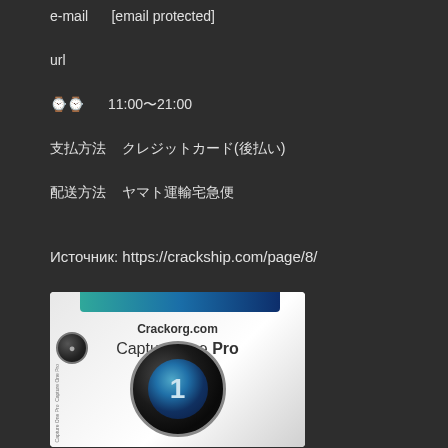e-mail    [email protected]
url
⏰  11:00〜21:00
支払方法  クレジットカード(後払い)
配送方法  ヤマト運輸宅急便
Источник: https://crackship.com/page/8/
[Figure (photo): Product box image for Capture One Pro from Crackorg.com, showing software packaging with a camera lens graphic and teal/blue gradient bar at top.]